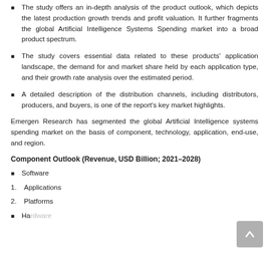The study offers an in-depth analysis of the product outlook, which depicts the latest production growth trends and profit valuation. It further fragments the global Artificial Intelligence Systems Spending market into a broad product spectrum.
The study covers essential data related to these products' application landscape, the demand for and market share held by each application type, and their growth rate analysis over the estimated period.
A detailed description of the distribution channels, including distributors, producers, and buyers, is one of the report's key market highlights.
Emergen Research has segmented the global Artificial Intelligence systems spending market on the basis of component, technology, application, end-use, and region.
Component Outlook (Revenue, USD Billion; 2021–2028)
Software
1.  Applications
2.  Platforms
Hardware